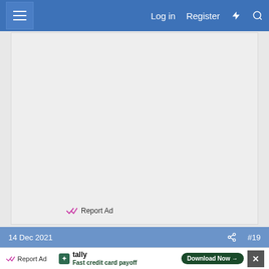Log in  Register
[Figure (screenshot): Grey advertisement placeholder area with a Report Ad link at bottom left]
Report Ad
14 Dec 2021  #19
[Figure (infographic): Tally app advertisement banner: tally logo, 'Fast credit card payoff', Download Now button, close button]